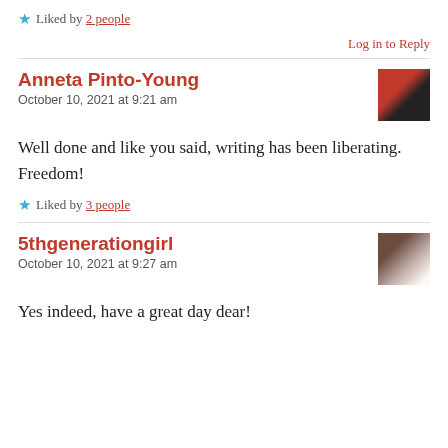★ Liked by 2 people
Log in to Reply
Anneta Pinto-Young
October 10, 2021 at 9:21 am
Well done and like you said, writing has been liberating. Freedom!
★ Liked by 3 people
5thgenerationgirl
October 10, 2021 at 9:27 am
Yes indeed, have a great day dear!